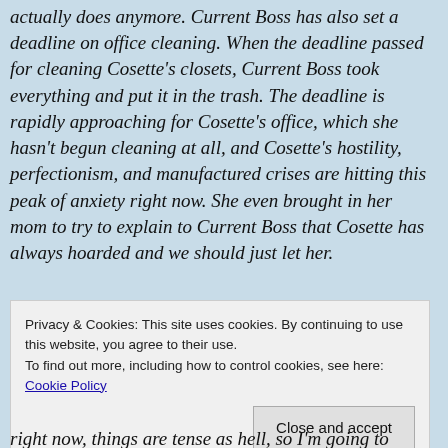actually does anymore. Current Boss has also set a deadline on office cleaning. When the deadline passed for cleaning Cosette's closets, Current Boss took everything and put it in the trash. The deadline is rapidly approaching for Cosette's office, which she hasn't begun cleaning at all, and Cosette's hostility, perfectionism, and manufactured crises are hitting this peak of anxiety right now. She even brought in her mom to try to explain to Current Boss that Cosette has always hoarded and we should just let her.
Privacy & Cookies: This site uses cookies. By continuing to use this website, you agree to their use. To find out more, including how to control cookies, see here: Cookie Policy
Close and accept
right now, things are tense as hell, so I'm going to